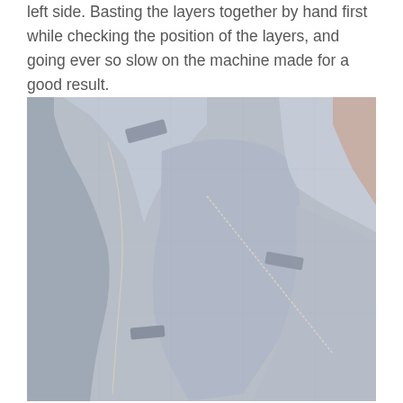left side. Basting the layers together by hand first while checking the position of the layers, and going ever so slow on the machine made for a good result.
[Figure (photo): A photograph of fabric pieces laid out flat, showing garment pattern pieces in light grey/blue fabric with visible seam allowances and notches, appearing to be pieces of a jacket or coat being assembled.]